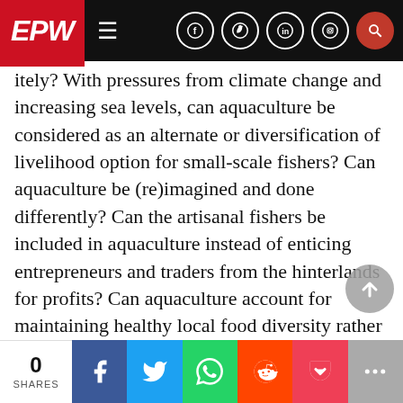EPW — navigation bar with social icons
itely? With pressures from climate change and increasing sea levels, can aquaculture be considered as an alternate or diversification of livelihood option for small-scale fishers? Can aquaculture be (re)imagined and done differently? Can the artisanal fishers be included in aquaculture instead of enticing entrepreneurs and traders from the hinterlands for profits? Can aquaculture account for maintaining healthy local food diversity rather than plantations of “pink gold”? The paper calls for the defenders of the Blue Revolution 2.0 to reimagine the challen
0 SHARES | Share on Facebook | Share on Twitter | Share on WhatsApp | Share on Reddit | Save to Pocket | More